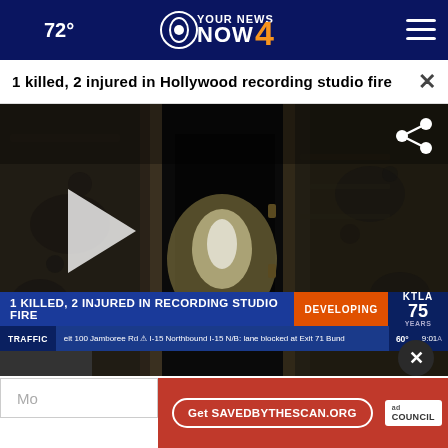72° YOUR NEWS NOW CBS 4
1 killed, 2 injured in Hollywood recording studio fire
[Figure (screenshot): Video screenshot of fire-damaged recording studio interior showing charred walls and doorway. Lower thirds shows: '1 KILLED, 2 INJURED IN RECORDING STUDIO FIRE' with 'DEVELOPING' tag and KTLA 75 YEARS logo. Traffic ticker at bottom: 'TRAFFIC | eit 100 Jamboree Rd ⚠ I-15 Northbound I-15 N/B: lane blocked at Exit 71 Bund | 60° 9:01']
Mo
Get SAVEDBYTHESCAN.ORG | ad council | AMERICAN LUNG ASSOCIATION.